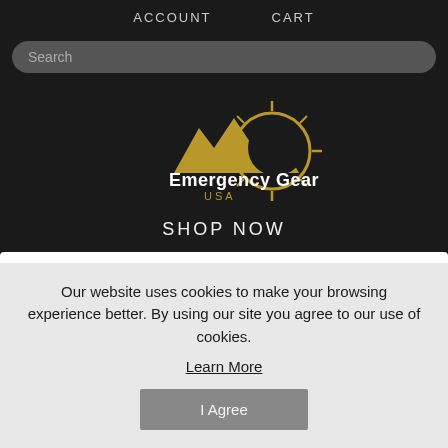ACCOUNT   CART
Search
[Figure (logo): Emergency Gear USA logo with mountain peaks and circular compass/sun design in gold/tan color on dark background]
SHOP NOW
Home > Bulldog Cases
BULLDOG CASES
Our website uses cookies to make your browsing experience better. By using our site you agree to our use of cookies.
Learn More
I Agree